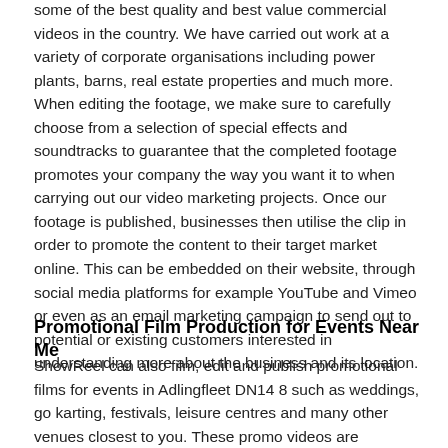some of the best quality and best value commercial videos in the country. We have carried out work at a variety of corporate organisations including power plants, barns, real estate properties and much more. When editing the footage, we make sure to carefully choose from a selection of special effects and soundtracks to guarantee that the completed footage promotes your company the way you want it to when carrying out our video marketing projects. Once our footage is published, businesses then utilise the clip in order to promote the content to their target market online. This can be embedded on their website, through social media platforms for example YouTube and Vimeo or even as an email marketing campaign to send out to potential or existing customers interested in understanding more about the business and its location.
Promotional Film Production for Events Near Me
ShowReel can also film, edit and publish promotional films for events in Adlingfleet DN14 8 such as weddings, go karting, festivals, leisure centres and many other venues closest to you. These promo videos are excellent, as once completed they can be shared online across a variety of social platforms in order for other